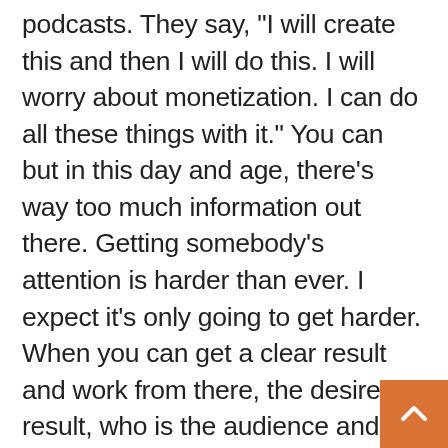podcasts. They say, "I will create this and then I will do this. I will worry about monetization. I can do all these things with it." You can but in this day and age, there's way too much information out there. Getting somebody's attention is harder than ever. I expect it's only going to get harder. When you can get a clear result and work from there, the desired result, who is the audience and the audience is the buyer of whatever you're selling. As podcasters who are in business and want to generate leads for our podcasts, it's about the end goal and focusing there. Just like when you build a business, you've got to know what you want. This also opens up the door to people who don't want to be podcasters, but who can